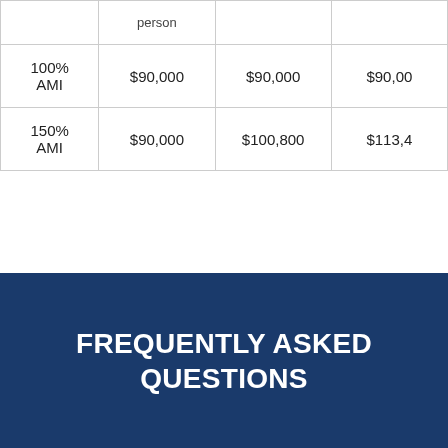|  | person |  |  |
| --- | --- | --- | --- |
| 100% AMI | $90,000 | $90,000 | $90,00… |
| 150% AMI | $90,000 | $100,800 | $113,4… |
FREQUENTLY ASKED QUESTIONS